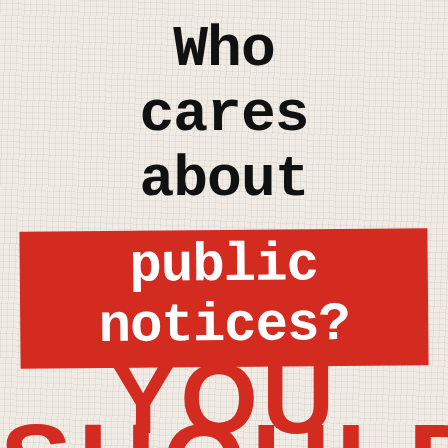[Figure (illustration): Book cover with linen/canvas textured background. Large black typewriter-font text reads 'Who cares about' followed by a red banner with white text reading 'public notices?' and below in large red bold text 'YOU SHOULD'.]
Who cares about public notices? YOU SHOULD